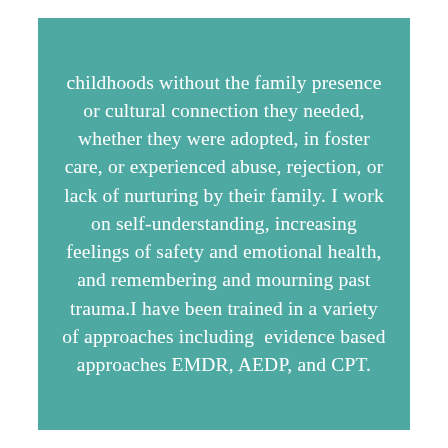childhoods without the family presence or cultural connection they needed, whether they were adopted, in foster care, or experienced abuse, rejection, or lack of nurturing by their family. I work on self-understanding, increasing feelings of safety and emotional health, and remembering and mourning past trauma.I have been trained in a variety of approaches including evidence based approaches EMDR, AEDP, and CPT.